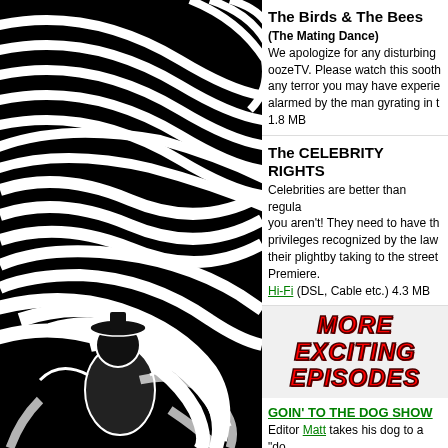[Figure (illustration): Black and white swirling op-art pattern with a figure/person visible in the lower portion]
The Birds & The Bees
(The Mating Dance)
We apologize for any disturbing oozeTV. Please watch this sooth any terror you may have experie alarmed by the man gyrating in t 1.8 MB
The CELEBRITY RIGHTS
Celebrities are better than regula you aren't! They need to have th privileges recognized by the law their plightby taking to the street Premiere.
Hi-Fi (DSL, Cable etc.) 4.3 MB
MORE EXCITING EPISODES
GOIN' TO THE DOG SHOW
Editor Matt takes his dog to a "do Photographers, Dog Poop-picke legged terror-dogs and more. Th